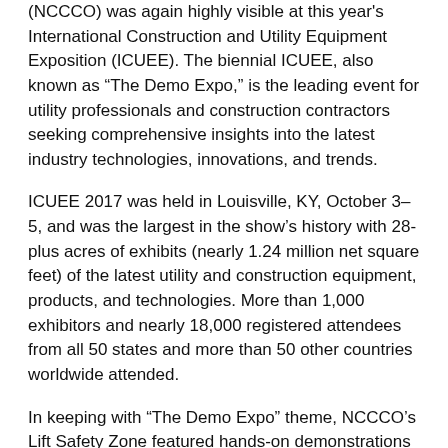(NCCCO) was again highly visible at this year's International Construction and Utility Equipment Exposition (ICUEE). The biennial ICUEE, also known as “The Demo Expo,” is the leading event for utility professionals and construction contractors seeking comprehensive insights into the latest industry technologies, innovations, and trends.
ICUEE 2017 was held in Louisville, KY, October 3–5, and was the largest in the show’s history with 28-plus acres of exhibits (nearly 1.24 million net square feet) of the latest utility and construction equipment, products, and technologies. More than 1,000 exhibitors and nearly 18,000 registered attendees from all 50 states and more than 50 other countries worldwide attended.
In keeping with “The Demo Expo” theme, NCCCO’s Lift Safety Zone featured hands-on demonstrations of NCCCO’s internationally accredited (ANSI/ISO) and OSHA-recognized personnel certification exams. Qualified